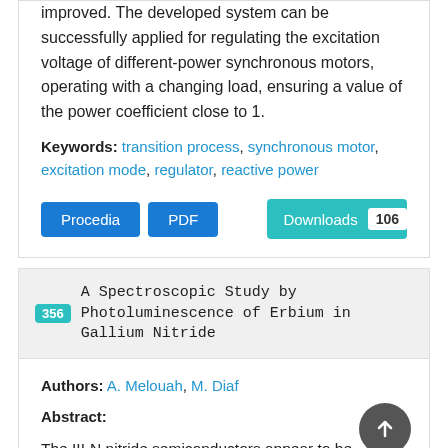improved. The developed system can be successfully applied for regulating the excitation voltage of different-power synchronous motors, operating with a changing load, ensuring a value of the power coefficient close to 1.
Keywords: transition process, synchronous motor, excitation mode, regulator, reactive power
Procedia | PDF | Downloads 106
356 A Spectroscopic Study by Photoluminescence of Erbium in Gallium Nitride
Authors: A. Melouah, M. Diaf
Abstract:
The III-N nitride semiconductors appear to be